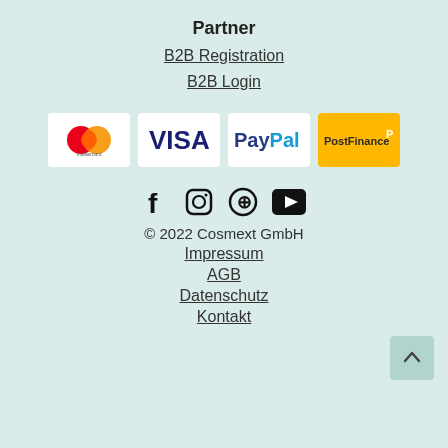Partner
B2B Registration
B2B Login
[Figure (logo): Payment method logos: Mastercard, VISA, PayPal, PostFinance]
[Figure (infographic): Social media icons: Facebook, Instagram, Pinterest, YouTube]
© 2022 Cosmext GmbH
Impressum
AGB
Datenschutz
Kontakt